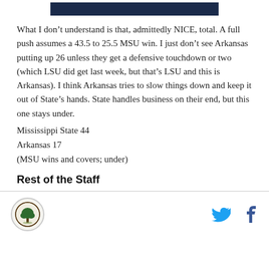[Figure (other): Dark navy blue header bar at top of page]
What I don't understand is that, admittedly NICE, total. A full push assumes a 43.5 to 25.5 MSU win. I just don't see Arkansas putting up 26 unless they get a defensive touchdown or two (which LSU did get last week, but that's LSU and this is Arkansas). I think Arkansas tries to slow things down and keep it out of State's hands. State handles business on their end, but this one stays under.
Mississippi State 44
Arkansas 17
(MSU wins and covers; under)
Rest of the Staff
[Figure (logo): Circular logo with tree illustration]
[Figure (other): Twitter and Facebook social media icons]